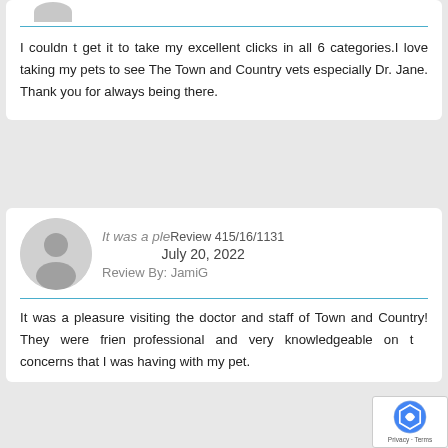I couldn t get it to take my excellent clicks in all 6 categories.I love taking my pets to see The Town and Country vets especially Dr. Jane. Thank you for always being there.
It was a pleasure visiting the doctor and staff of Town and Country! They were friendly, professional and very knowledgeable on the concerns that I was having with my pet.
Review 415/16/1131
July 20, 2022
Review By: JamiG